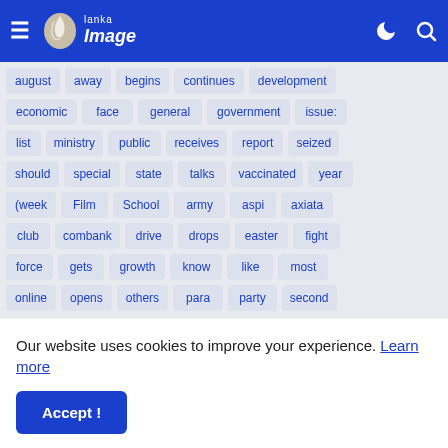[Figure (logo): Lanka Image website header/navigation bar with hamburger menu, logo, moon icon, and search icon]
august away begins continues development economic face general government issue: list ministry public receives report seized should special state talks vaccinated year (week Film School army aspi axiata club combank drive drops easter fight force gets growth know like most online opens others para party second
Our website uses cookies to improve your experience. Learn more
Accept !